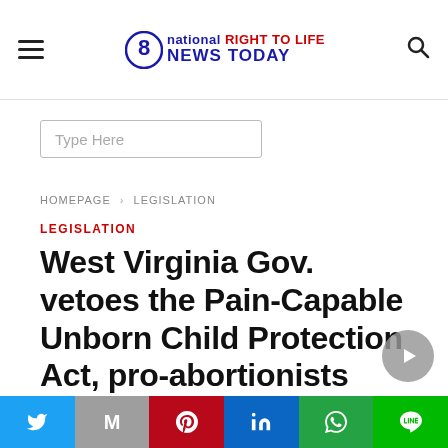national RIGHT TO LIFE NEWS TODAY
Type Here
HOMEPAGE › LEGISLATION
LEGISLATION
West Virginia Gov. vetoes the Pain-Capable Unborn Child Protection Act, pro-abortionists congratulate